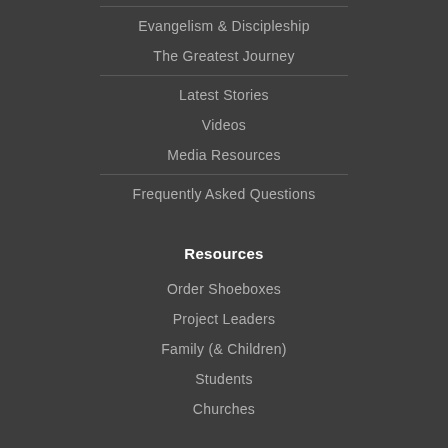Evangelism & Discipleship
The Greatest Journey
Latest Stories
Videos
Media Resources
Frequently Asked Questions
Resources
Order Shoeboxes
Project Leaders
Family (& Children)
Students
Churches